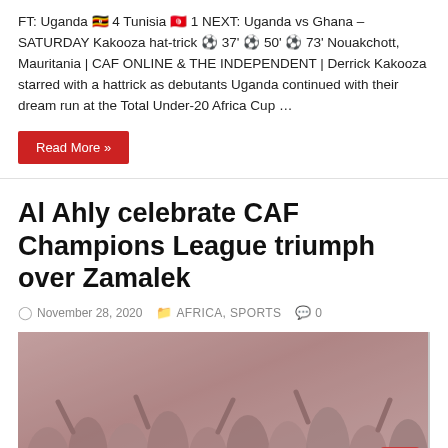FT: Uganda 🇺🇬 4 Tunisia 🇹🇳 1 NEXT: Uganda vs Ghana – SATURDAY Kakooza hat-trick ⚽ 37' ⚽ 50' ⚽ 73' Nouakchott, Mauritania | CAF ONLINE & THE INDEPENDENT | Derrick Kakooza starred with a hattrick as debutants Uganda continued with their dream run at the Total Under-20 Africa Cup …
Read More »
Al Ahly celebrate CAF Champions League triumph over Zamalek
November 28, 2020  AFRICA, SPORTS  0
[Figure (photo): Blurred/faded photo of a large crowd of people celebrating, with a reddish tint overlay. People appear to be in red colors. A red scroll-to-top button is visible in the bottom right corner.]